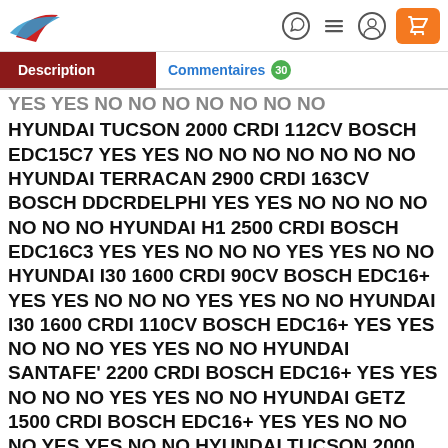[Logo] [WhatsApp icon] [Menu icon] [Account icon] [Cart icon]
Description | Commentaires 30
YES YES NO NO NO NO NO NO NO
HYUNDAI TUCSON 2000 CRDI 112CV BOSCH EDC15C7 YES YES NO NO NO NO NO NO NO
HYUNDAI TERRACAN 2900 CRDI 163CV BOSCH DDCRDELPHI YES YES NO NO NO NO NO NO NO
HYUNDAI H1 2500 CRDI BOSCH EDC16C3 YES YES NO NO NO YES YES NO NO
HYUNDAI I30 1600 CRDI 90CV BOSCH EDC16+ YES YES NO NO NO YES YES NO NO
HYUNDAI I30 1600 CRDI 110CV BOSCH EDC16+ YES YES NO NO NO YES YES NO NO
HYUNDAI SANTAFE' 2200 CRDI BOSCH EDC16+ YES YES NO NO NO YES YES NO NO
HYUNDAI GETZ 1500 CRDI BOSCH EDC16+ YES YES NO NO NO YES YES NO NO
HYUNDAI TUCSON 2000 CRDI BOSCH EDC16+ YES YES NO NO NO YES YES NO NO